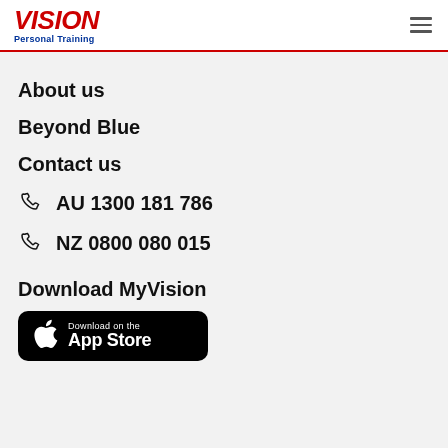Vision Personal Training
About us
Beyond Blue
Contact us
AU 1300 181 786
NZ 0800 080 015
Download MyVision
[Figure (other): Download on the App Store badge]